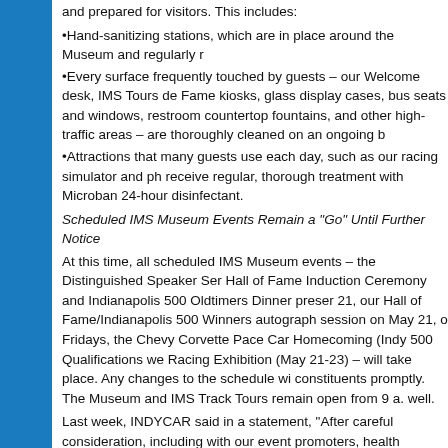and prepared for visitors. This includes:
•Hand-sanitizing stations, which are in place around the Museum and regularly r
•Every surface frequently touched by guests – our Welcome desk, IMS Tours de Fame kiosks, glass display cases, bus seats and windows, restroom countertop fountains, and other high-traffic areas – are thoroughly cleaned on an ongoing b
•Attractions that many guests use each day, such as our racing simulator and ph receive regular, thorough treatment with Microban 24-hour disinfectant.
Scheduled IMS Museum Events Remain a "Go" Until Further Notice
At this time, all scheduled IMS Museum events – the Distinguished Speaker Ser Hall of Fame Induction Ceremony and Indianapolis 500 Oldtimers Dinner preser 21, our Hall of Fame/Indianapolis 500 Winners autograph session on May 21, o Fridays, the Chevy Corvette Pace Car Homecoming (Indy 500 Qualifications we Racing Exhibition (May 21-23) – will take place. Any changes to the schedule wi constituents promptly. The Museum and IMS Track Tours remain open from 9 a. well.
Last week, INDYCAR said in a statement, "After careful consideration, including with our event promoters, health officials, and the city administrations in our res regarding COVID-19, we have made the decision to cancel all NTT INDYCAR S This begins with the Firestone Grand Prix of St. Petersburg which was to begin Sunday, March 15 and continues through the AutoNation INDYCAR Challenge a Austin, Texas which was to take place April 24-26.